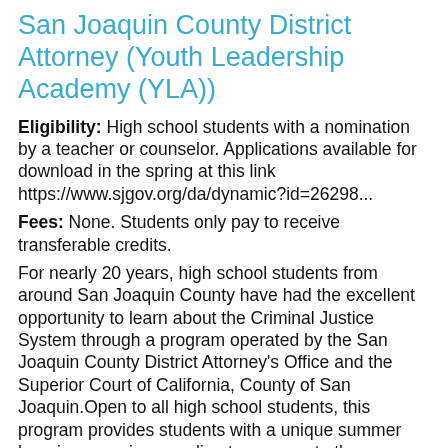San Joaquin County District Attorney (Youth Leadership Academy (YLA))
Eligibility: High school students with a nomination by a teacher or counselor. Applications available for download in the spring at this link https://www.sjgov.org/da/dynamic?id=26298...
Fees: None. Students only pay to receive transferable credits.
For nearly 20 years, high school students from around San Joaquin County have had the excellent opportunity to learn about the Criminal Justice System through a program operated by the San Joaquin County District Attorney's Office and the Superior Court of California, County of San Joaquin.Open to all high school students, this program provides students with a unique summer learning experience... direct exposure to the